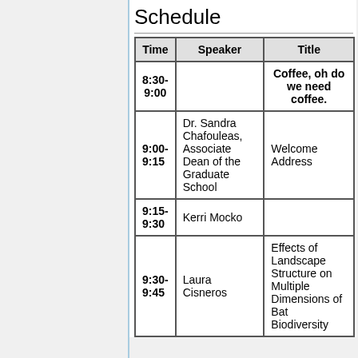Schedule
| Time | Speaker | Title |
| --- | --- | --- |
| 8:30-9:00 |  | Coffee, oh do we need coffee. |
| 9:00-9:15 | Dr. Sandra Chafouleas, Associate Dean of the Graduate School | Welcome Address |
| 9:15-9:30 | Kerri Mocko |  |
| 9:30-9:45 | Laura Cisneros | Effects of Landscape Structure on Multiple Dimensions of Bat Biodiversity |